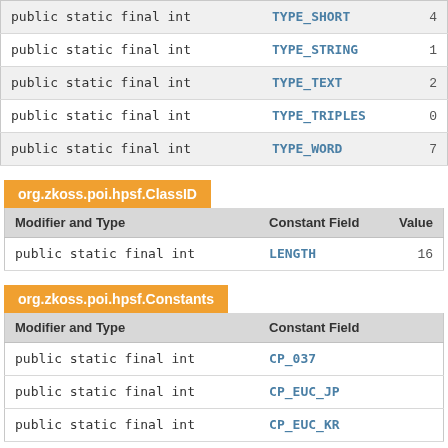| Modifier and Type | Constant Field | Value |
| --- | --- | --- |
| public static final int | TYPE_SHORT | 4 |
| public static final int | TYPE_STRING | 1 |
| public static final int | TYPE_TEXT | 2 |
| public static final int | TYPE_TRIPLES | 0 |
| public static final int | TYPE_WORD | 7 |
org.zkoss.poi.hpsf.ClassID
| Modifier and Type | Constant Field | Value |
| --- | --- | --- |
| public static final int | LENGTH | 16 |
org.zkoss.poi.hpsf.Constants
| Modifier and Type | Constant Field |
| --- | --- |
| public static final int | CP_037 |
| public static final int | CP_EUC_JP |
| public static final int | CP_EUC_KR |